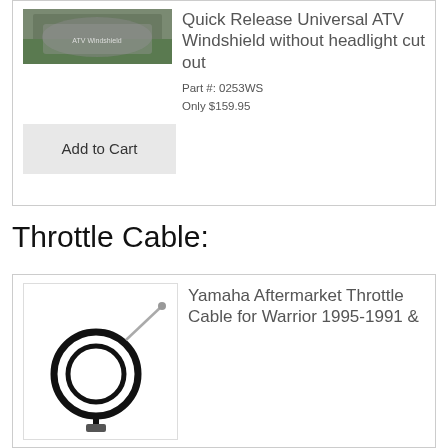[Figure (photo): Photo of an ATV windshield mounted on a vehicle, outdoor setting with grass background]
Quick Release Universal ATV Windshield without headlight cut out
Part #: 0253WS
Only $159.95
Add to Cart
Throttle Cable:
[Figure (photo): Photo of a black throttle cable for Yamaha ATV with metal fittings on white background]
Yamaha Aftermarket Throttle Cable for Warrior 1995-1991 &